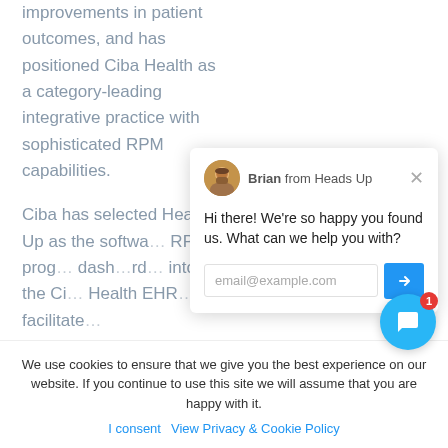improvements in patient outcomes, and has positioned Ciba Health as a category-leading integrative practice with sophisticated RPM capabilities.
Ciba has selected Heads Up as the softwa… RPM prog… dash…[partially obscured by popup] into the Ci… Health EHR … to facilitate…
[Figure (screenshot): Chat popup from 'Brian from Heads Up' with message 'Hi there! We're so happy you found us. What can we help you with?' and an email input field with a send button.]
We use cookies to ensure that we give you the best experience on our website. If you continue to use this site we will assume that you are happy with it.
I consent   View Privacy & Cookie Policy